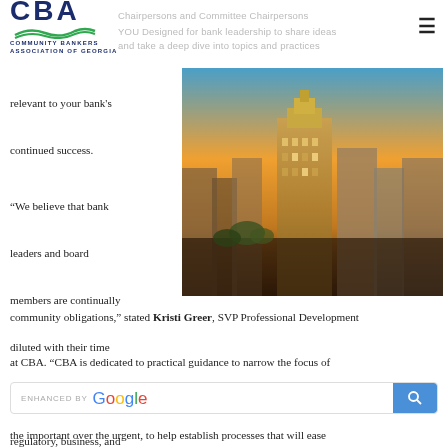CBA Community Bankers Association of Georgia
Chairpersons and Committee Chairpersons YOU Designed for bank leadership to share ideas and take a deep dive into topics and practices relevant to your bank's continued success.
[Figure (photo): Aerial/skyline view of a city at golden hour, showing tall buildings including a prominent art-deco style skyscraper, with warm orange and blue sky tones]
“We believe that bank leaders and board members are continually diluted with their time and energy related to regulatory, business, and community obligations,” stated Kristi Greer, SVP Professional Development at CBA. “CBA is dedicated to practical guidance to narrow the focus of
ll put an emphasis on the important over the urgent, to help establish processes that will ease